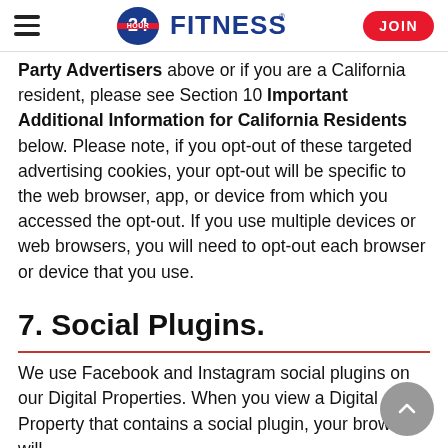24 Hour Fitness | JOIN
Party Advertisers above or if you are a California resident, please see Section 10 Important Additional Information for California Residents below. Please note, if you opt-out of these targeted advertising cookies, your opt-out will be specific to the web browser, app, or device from which you accessed the opt-out. If you use multiple devices or web browsers, you will need to opt-out each browser or device that you use.
7. Social Plugins.
We use Facebook and Instagram social plugins on our Digital Properties. When you view a Digital Property that contains a social plugin, your browser will